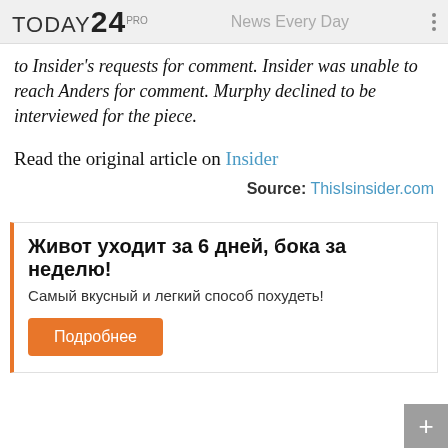TODAY24 PRO  News Every Day
to Insider's requests for comment. Insider was unable to reach Anders for comment. Murphy declined to be interviewed for the piece.
Read the original article on Insider
Source: ThisIsinsider.com
Живот уходит за 6 дней, бока за неделю! Самый вкусный и легкий способ похудеть! Подробнее